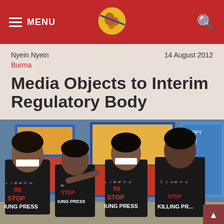MENU [logo] [search]
Nyein Nyein    14 August 2012
Burma
Media Objects to Interim Regulatory Body
[Figure (photo): Four young men wearing black t-shirts reading 'STOP KILLING PRESS' walking together, some with white tape over their mouths, in a protest against press restrictions. Colorful movie posters visible in the background.]